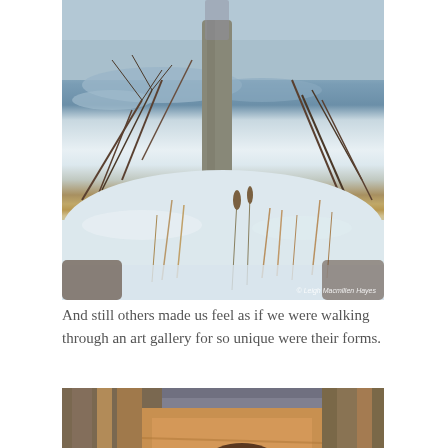[Figure (photo): Winter nature photograph showing a frozen or icy stream/pond with bare shrubs and dried grasses, snow on the ground, and a tree trunk in the background. Watermark reads '© Leigh Macmillen Hayes'.]
And still others made us feel as if we were walking through an art gallery for so unique were their forms.
[Figure (photo): Close-up photograph of a hollow or carved-out tree trunk showing orange and brown wood grain textures with a cavity or opening in the center.]